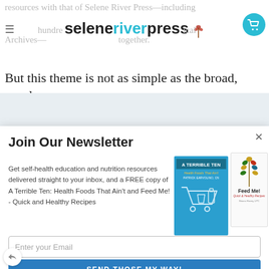resources with that of Selene River Press—including hundreds of historical Archives— together.
But this theme is not as simple as the broad, poorly
Join Our Newsletter
Get self-health education and nutrition resources delivered straight to your inbox, and a FREE copy of A Terrible Ten: Health Foods That Ain't and Feed Me! - Quick and Healthy Recipes
[Figure (illustration): Book cover: A Terrible Ten Health Foods That Ain't by Patrick Earvolino, CN - blue cover with shopping cart illustration]
[Figure (illustration): Book cover: Feed Me! Quick and Healthy Recipes - white cover with wheat stalk illustration]
Enter your Email
SEND THOSE MY WAY!